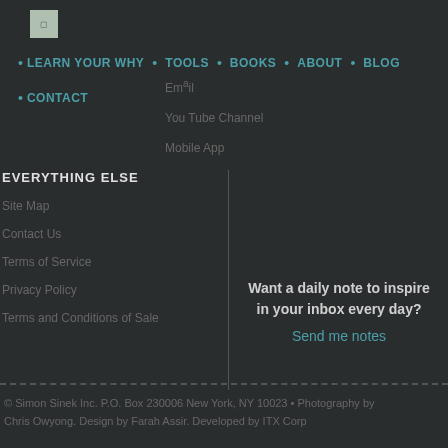[Figure (logo): Logo image placeholder in top left]
LEARN YOUR WHY · TOOLS · BOOKS · ABOUT · BLOG
CONTACT
Email
You Tube Channel
Mobile App
EVERYTHING ELSE
Site Map
Contact Us
Terms of Service
Privacy Policy
Terms and Conditions of Sale
Want a daily note to inspire in your inbox every day?
Send me notes
© Simon Sinek Inc. P.O. Box 230006 New York, NY 10023 • Photography by Chris Owyong. Design by Farah Assir. Developed by ITX Corp